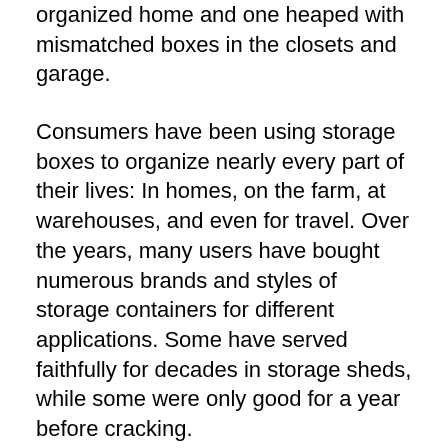organized home and one heaped with mismatched boxes in the closets and garage.
Consumers have been using storage boxes to organize nearly every part of their lives: In homes, on the farm, at warehouses, and even for travel. Over the years, many users have bought numerous brands and styles of storage containers for different applications. Some have served faithfully for decades in storage sheds, while some were only good for a year before cracking.
The best meal subscription box reddit can lead to smarter living in your home. With a functional aesthetic, storage bins can declutter and organize. To find the ideal meal subscription box reddit available, we